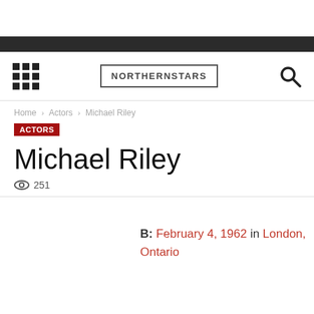NORTHERNSTARS
Home › Actors › Michael Riley
ACTORS
Michael Riley
251
B: February 4, 1962 in London, Ontario